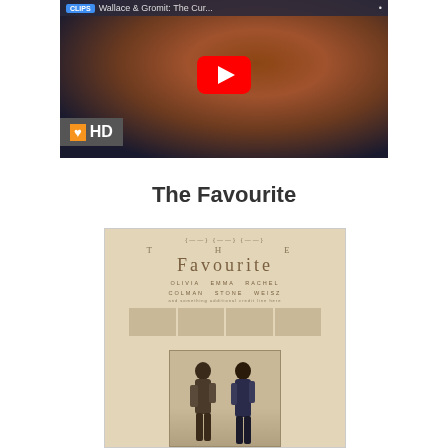[Figure (screenshot): YouTube video thumbnail showing Wallace and Gromit character (fuzzy creature), with YouTube play button overlay, CLIPS badge top left, and Fandango HD badge bottom left. Title bar reads 'Wallace & Gromit: The Cur...']
The Favourite
[Figure (photo): Movie poster for 'The Favourite' on beige/cream background. Shows title text 'THE FAVOURITE', cast names OLIVIA COLMAN, EMMA STONE, RACHEL WEISZ, with decorative bars, and lower portion showing two costumed figures facing each other.]